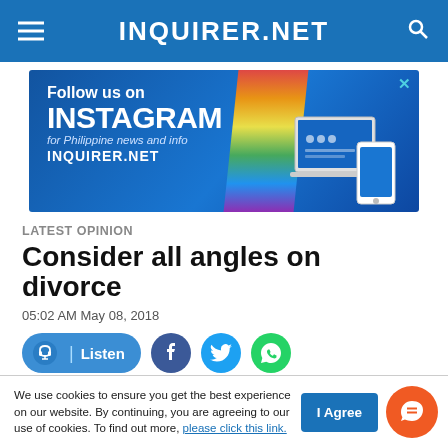INQUIRER.NET
[Figure (infographic): Instagram promotional banner with colorful rainbow strip and device mockup: 'Follow us on INSTAGRAM for Philippine news and info INQUIRER.NET']
LATEST OPINION
Consider all angles on divorce
05:02 AM May 08, 2018
Listen (social share buttons: Facebook, Twitter, WhatsApp)
We use cookies to ensure you get the best experience on our website. By continuing, you are agreeing to our use of cookies. To find out more, please click this link.